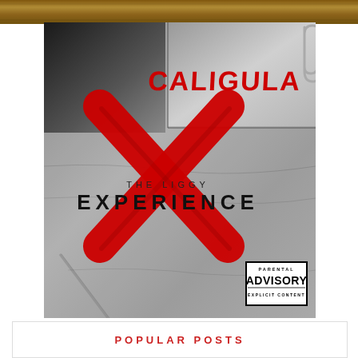[Figure (photo): Top banner showing a golden/brown decorated border strip from a painting or mural]
[Figure (photo): Album cover for 'Caligula: The Liggy Experience' - grey/silver grunge textured background with a large red X, 'CALIGULA' in red at top, 'THE LIGGY EXPERIENCE' text in black, Parental Advisory Explicit Content sticker in bottom right]
POPULAR POSTS